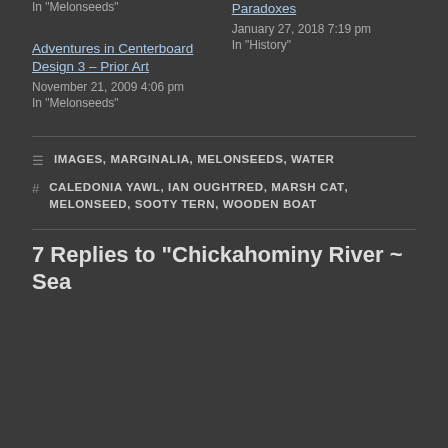In "Melonseeds"
Paradoxes
January 27, 2018 7:19 pm
In "History"
Adventures in Centerboard Design 3 – Prior Art
November 21, 2009 4:06 pm
In "Melonseeds"
IMAGES, MARGINALIA, MELONSEEDS, WATER
CALEDONIA YAWL, IAN OUGHTRED, MARSH CAT, MELONSEED, SOOTY TERN, WOODEN BOAT
7 Replies to "Chickahominy River ~ Sea